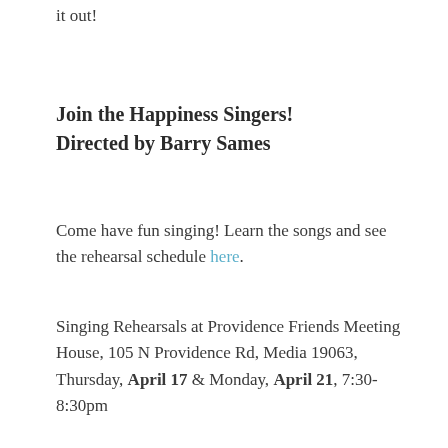it out!
Join the Happiness Singers! Directed by Barry Sames
Come have fun singing! Learn the songs and see the rehearsal schedule here.
Singing Rehearsals at Providence Friends Meeting House, 105 N Providence Rd, Media 19063, Thursday, April 17 & Monday, April 21, 7:30-8:30pm